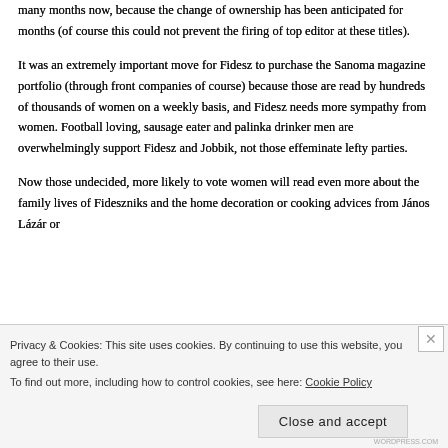many months now, because the change of ownership has been anticipated for months (of course this could not prevent the firing of top editor at these titles).
It was an extremely important move for Fidesz to purchase the Sanoma magazine portfolio (through front companies of course) because those are read by hundreds of thousands of women on a weekly basis, and Fidesz needs more sympathy from women. Football loving, sausage eater and palinka drinker men are overwhelmingly support Fidesz and Jobbik, not those effeminate lefty parties.
Now those undecided, more likely to vote women will read even more about the family lives of Fideszniks and the home decoration or cooking advices from János Lázár or...
Privacy & Cookies: This site uses cookies. By continuing to use this website, you agree to their use.
To find out more, including how to control cookies, see here: Cookie Policy
Close and accept